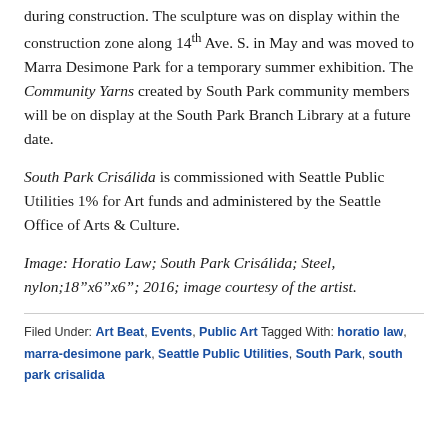during construction. The sculpture was on display within the construction zone along 14th Ave. S. in May and was moved to Marra Desimone Park for a temporary summer exhibition. The Community Yarns created by South Park community members will be on display at the South Park Branch Library at a future date.
South Park Crisálida is commissioned with Seattle Public Utilities 1% for Art funds and administered by the Seattle Office of Arts & Culture.
Image: Horatio Law; South Park Crisálida; Steel, nylon;18"x6"x6"; 2016; image courtesy of the artist.
Filed Under: Art Beat, Events, Public Art Tagged With: horatio law, marra-desimone park, Seattle Public Utilities, South Park, south park crisalida